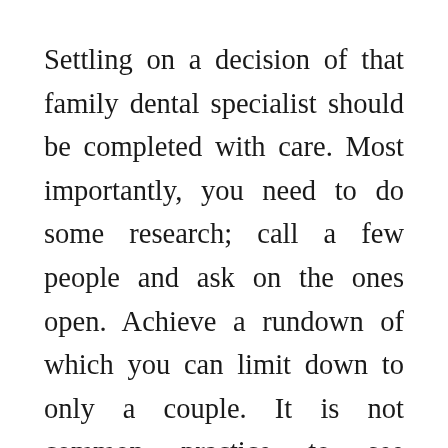Settling on a decision of that family dental specialist should be completed with care. Most importantly, you need to do some research; call a few people and ask on the ones open. Achieve a rundown of which you can limit down to only a couple. It is not common practice to see medical practitioners advertising, or if they advertise, it is not as vigorous as the players in the commodity market. Then again, a few people will have dental protection and are constrained to